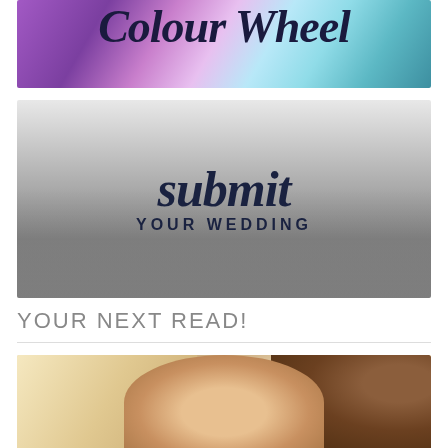[Figure (illustration): Colourful banner image with text 'Colour Wheel' in dark cursive script over a blurred rainbow/pastel gradient background (purples, greens, blues)]
[Figure (photo): Black and white photo of a wedding party outdoors near a white car. Overlaid text reads 'submit YOUR WEDDING' in dark navy script and uppercase sans-serif.]
YOUR NEXT READ!
[Figure (photo): Color photo of a bride having makeup applied, with an elaborate updo hairstyle decorated with pearl/crystal hair accessories. Warm golden background tones.]